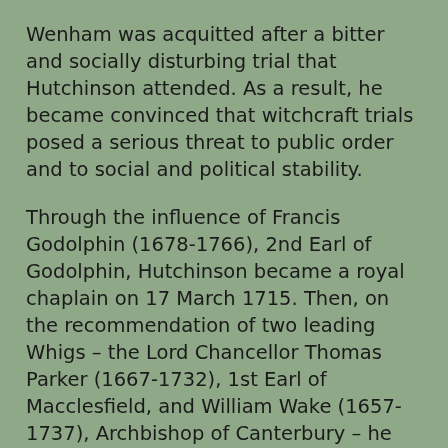Wenham was acquitted after a bitter and socially disturbing trial that Hutchinson attended. As a result, he became convinced that witchcraft trials posed a serious threat to public order and to social and political stability.
Through the influence of Francis Godolphin (1678-1766), 2nd Earl of Godolphin, Hutchinson became a royal chaplain on 17 March 1715. Then, on the recommendation of two leading Whigs – the Lord Chancellor Thomas Parker (1667-1732), 1st Earl of Macclesfield, and William Wake (1657-1737), Archbishop of Canterbury – he became Bishop of Down and Connor in 1720 following the death of Edward Smith.
Archbishop William King refused to consecrate Hutchinson, leaving the task to a commission formed mainly of English bishops, and he was finally consecrated bishop on 22 January 1721.
Hutchinson soon found he was thoroughly disliked by the other Irish bishops. John Evans, Bishop of Meath, was